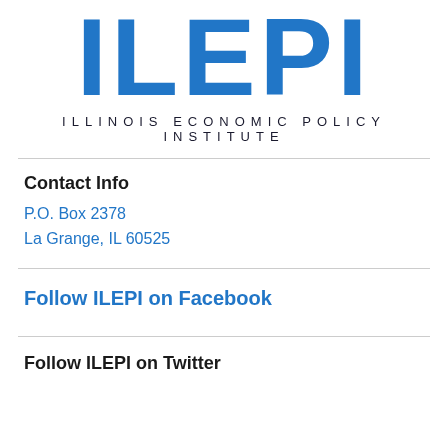[Figure (logo): ILEPI logo — large blue bold letters 'ILEPI' with subtitle 'ILLINOIS ECONOMIC POLICY INSTITUTE']
Contact Info
P.O. Box 2378
La Grange, IL 60525
Follow ILEPI on Facebook
Follow ILEPI on Twitter